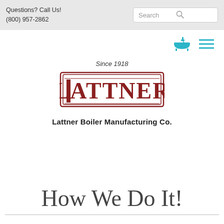Questions? Call Us!
(800) 957-2862
[Figure (logo): Lattner Boiler Manufacturing Co. logo with text 'Since 1918' above and company name below]
How We Do It!